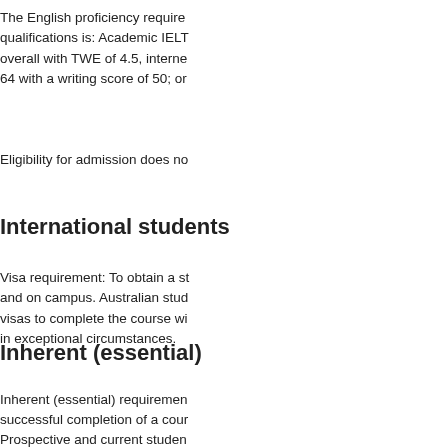The English proficiency requirements for these qualifications is: Academic IELTS... overall with TWE of 4.5, interne... 64 with a writing score of 50; or...
Eligibility for admission does no...
International students
Visa requirement: To obtain a st... and on campus. Australian stud... visas to complete the course wi... in exceptional circumstances.
Inherent (essential)
Inherent (essential) requiremen... successful completion of a cour...
Prospective and current studen... below and consider whether the... Statement should be read in co...
Prospective or current student c... concerns with the Academic Li...